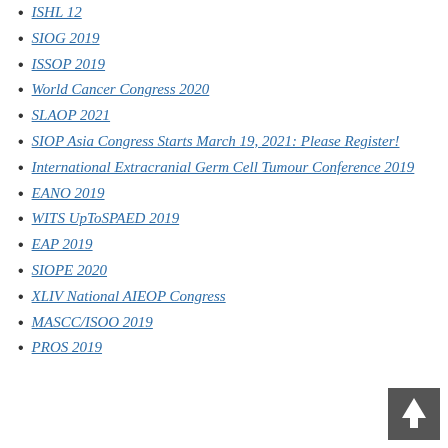ISHL 12
SIOG 2019
ISSOP 2019
World Cancer Congress 2020
SLAOP 2021
SIOP Asia Congress Starts March 19, 2021: Please Register!
International Extracranial Germ Cell Tumour Conference 2019
EANO 2019
WITS UpToSPAED 2019
EAP 2019
SIOPE 2020
XLIV National AIEOP Congress
MASCC/ISOO 2019
PROS 2019